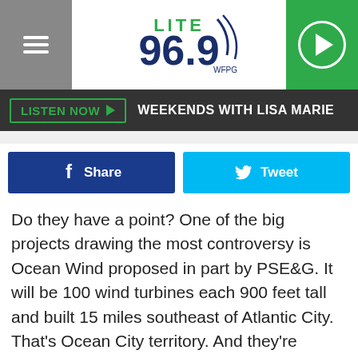[Figure (logo): Lite 96.9 WFPG radio station logo with hamburger menu and play button]
LISTEN NOW ▶  WEEKENDS WITH LISA MARIE
[Figure (infographic): Facebook Share button and Twitter Tweet button]
Do they have a point? One of the big projects drawing the most controversy is Ocean Wind proposed in part by PSE&G. It will be 100 wind turbines each 900 feet tall and built 15 miles southeast of Atlantic City. That's Ocean City territory. And they're concerned.